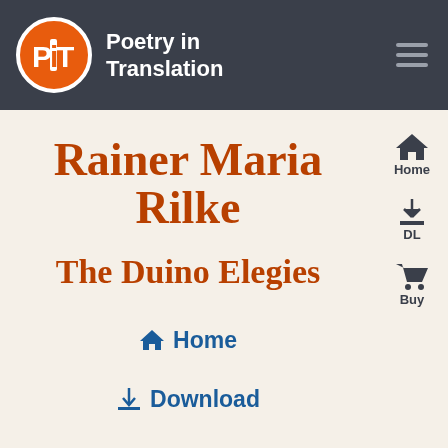Poetry in Translation
Rainer Maria Rilke
The Duino Elegies
Home
Download
Buy This Book